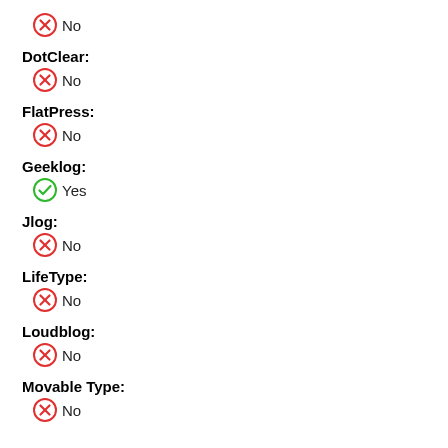No
DotClear:
No
FlatPress:
No
Geeklog:
Yes
Jlog:
No
LifeType:
No
Loudblog:
No
Movable Type:
No